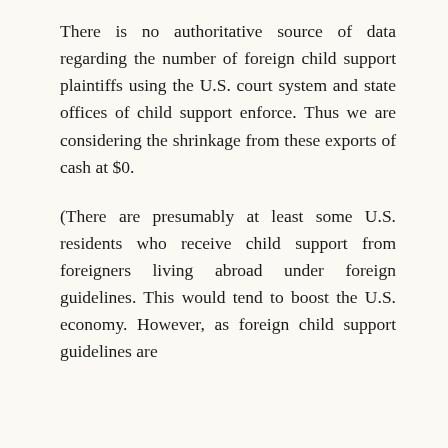There is no authoritative source of data regarding the number of foreign child support plaintiffs using the U.S. court system and state offices of child support enforce. Thus we are considering the shrinkage from these exports of cash at $0.
(There are presumably at least some U.S. residents who receive child support from foreigners living abroad under foreign guidelines. This would tend to boost the U.S. economy. However, as foreign child support guidelines are